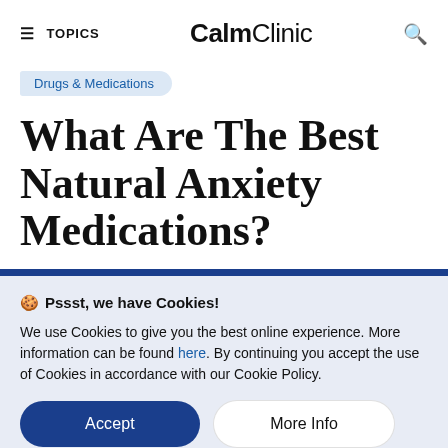≡ TOPICS   CalmClinic   🔍
Drugs & Medications
What Are The Best Natural Anxiety Medications?
🍪 Pssst, we have Cookies!
We use Cookies to give you the best online experience. More information can be found here. By continuing you accept the use of Cookies in accordance with our Cookie Policy.
Accept   More Info